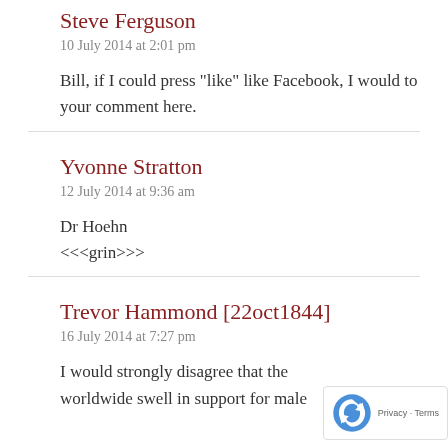Steve Ferguson
10 July 2014 at 2:01 pm
Bill, if I could press "like" like Facebook, I would to your comment here.
Yvonne Stratton
12 July 2014 at 9:36 am
Dr Hoehn
<<<grin>>>
Trevor Hammond [22oct1844]
16 July 2014 at 7:27 pm
I would strongly disagree that the worldwide swell in support for male